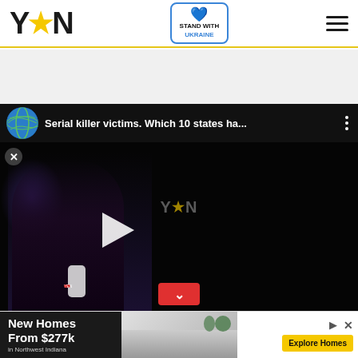YEN — Stand With Ukraine — Navigation menu
[Figure (screenshot): YEN.com.gh website header with YEN logo on left, Stand With Ukraine badge in center-right, and hamburger menu on far right. Below header is an advertisement placeholder area.]
[Figure (screenshot): Embedded YouTube-style video player with globe channel icon, title 'Serial killer victims. Which 10 states ha...', three-dot menu, dark video frame showing a woman being interviewed with YEN watermark, play button overlay, close (X) button, and red scroll-down chevron button.]
[Figure (screenshot): Bottom advertisement banner: 'New Homes From $277k in Northwest Indiana' on dark background, home interior image in center, and yellow 'Explore Homes' button on right with ad controls.]